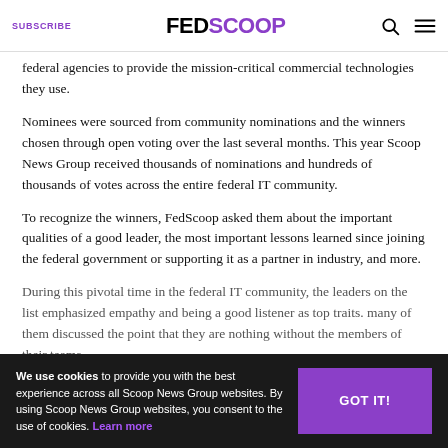SUBSCRIBE | FEDSCOOP
federal agencies to provide the mission-critical commercial technologies they use.
Nominees were sourced from community nominations and the winners chosen through open voting over the last several months. This year Scoop News Group received thousands of nominations and hundreds of thousands of votes across the entire federal IT community.
To recognize the winners, FedScoop asked them about the important qualities of a good leader, the most important lessons learned since joining the federal government or supporting it as a partner in industry, and more.
During this pivotal time in the federal IT community, the leaders on the list emphasized empathy and being a good listener as top traits. many of them discussed the point that they are nothing without the members of their teams.
We use cookies to provide you with the best experience across all Scoop News Group websites. By using Scoop News Group websites, you consent to the use of cookies. Learn more